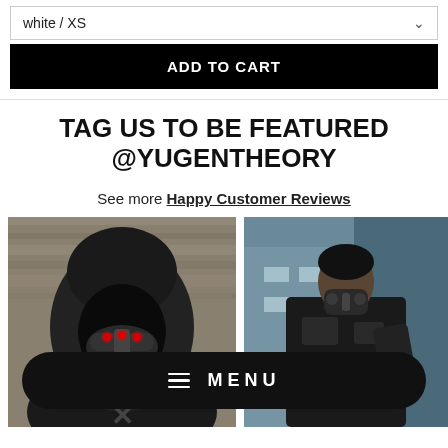white / XS
ADD TO CART
TAG US TO BE FEATURED @YUGENTHEORY
See more Happy Customer Reviews
[Figure (photo): Person wearing dark hoodie with a futuristic cyberpunk mask with red LED eyes, in front of a wooden wall]
[Figure (photo): Man wearing dark tactical jacket and a respirator/gas mask standing in front of a building]
MENU